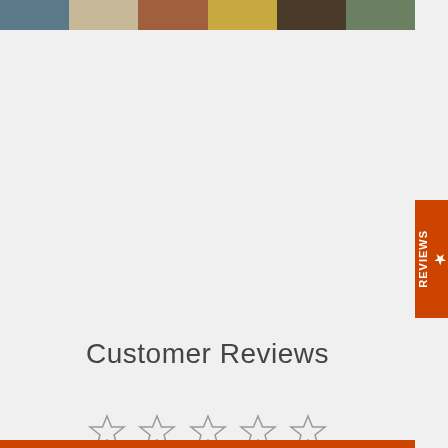[Figure (photo): Horizontal strip of 6 tile/texture photos at the top of the page]
[Figure (other): Orange vertical Reviews tab on right side with star icon and REVIEWS text rotated vertically]
SEE MORE >
Customer Reviews
[Figure (other): Five empty/unfilled star rating icons in a row]